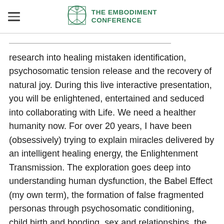THE EMBODIMENT CONFERENCE
research into healing mistaken identification, psychosomatic tension release and the recovery of natural joy. During this live interactive presentation, you will be enlightened, entertained and seduced into collaborating with Life. We need a healther humanity now. For over 20 years, I have been (obsessively) trying to explain miracles delivered by an intelligent healing energy, the Enlightenment Transmission. The exploration goes deep into understanding human dysfunction, the Babel Effect (my own term), the formation of false fragmented personas through psychosomatic conditioning, child birth and bonding, sex and relationships, the role of verbal and non-verbal language, disassociated versus true internal sensations,